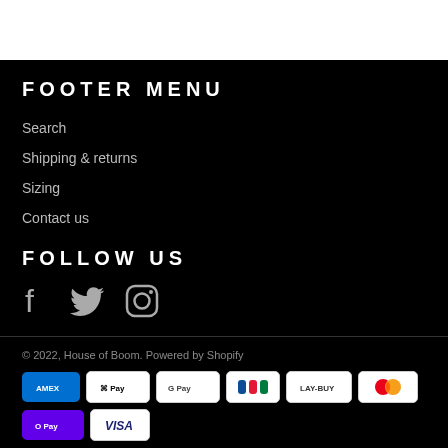FOOTER MENU
Search
Shipping & returns
Sizing
Contact us
FOLLOW US
[Figure (infographic): Social media icons: Facebook, Twitter, Instagram]
© 2022, House of Boom. Powered by Shopify
[Figure (infographic): Payment method badges: American Express, Apple Pay, Google Pay, JCB, Laybuy, Mastercard, OPay, Visa]